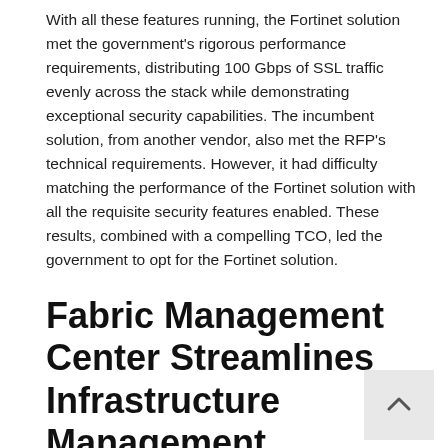With all these features running, the Fortinet solution met the government's rigorous performance requirements, distributing 100 Gbps of SSL traffic evenly across the stack while demonstrating exceptional security capabilities. The incumbent solution, from another vendor, also met the RFP's technical requirements. However, it had difficulty matching the performance of the Fortinet solution with all the requisite security features enabled. These results, combined with a compelling TCO, led the government to opt for the Fortinet solution.
Fabric Management Center Streamlines Infrastructure Management